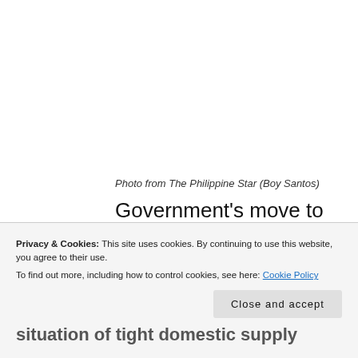Photo from The Philippine Star (Boy Santos)
Government’s move to import duty-free 150,000 metric tons (MT) of sugar to supposedly mitigate soaring local prices may cause more harm than good for end-consumers as it encourages further speculation and worsens the situation of tight domestic supply
Privacy & Cookies: This site uses cookies. By continuing to use this website, you agree to their use. To find out more, including how to control cookies, see here: Cookie Policy
Close and accept